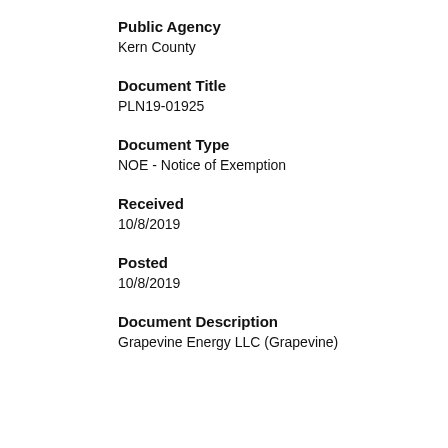Public Agency
Kern County
Document Title
PLN19-01925
Document Type
NOE - Notice of Exemption
Received
10/8/2019
Posted
10/8/2019
Document Description
Grapevine Energy LLC (Grapevine)